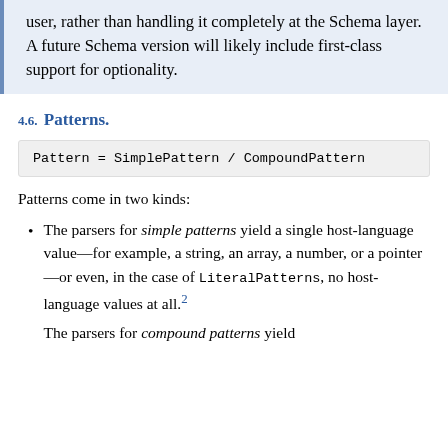user, rather than handling it completely at the Schema layer. A future Schema version will likely include first-class support for optionality.
4.6. Patterns.
Patterns come in two kinds:
The parsers for simple patterns yield a single host-language value—for example, a string, an array, a number, or a pointer—or even, in the case of LiteralPatterns, no host-language values at all.²
The parsers for compound patterns yield...